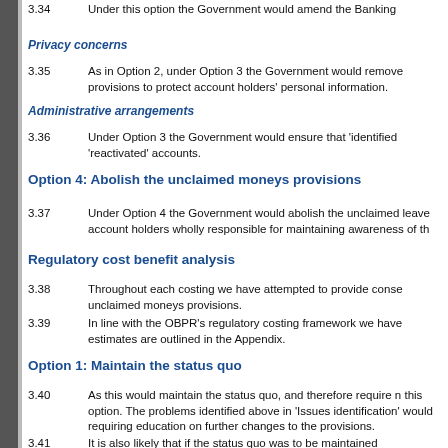3.34    Under this option the Government would amend the Banking
Privacy concerns
3.35    As in Option 2, under Option 3 the Government would remove provisions to protect account holders' personal information.
Administrative arrangements
3.36    Under Option 3 the Government would ensure that 'identified 'reactivated' accounts.
Option 4: Abolish the unclaimed moneys provisions
3.37    Under Option 4 the Government would abolish the unclaimed leave account holders wholly responsible for maintaining awareness of th
Regulatory cost benefit analysis
3.38    Throughout each costing we have attempted to provide conse unclaimed moneys provisions.
3.39    In line with the OBPR's regulatory costing framework we have estimates are outlined in the Appendix.
Option 1: Maintain the status quo
3.40    As this would maintain the status quo, and therefore require n this option. The problems identified above in 'Issues identification' would requiring education on further changes to the provisions.
3.41    It is also likely that if the status quo was to be maintained